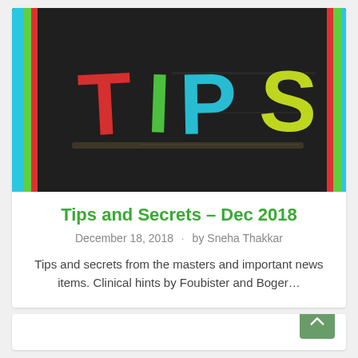[Figure (photo): Chalkboard image with the word TIPS written in colorful chalk letters (T in red, I in green, P in cyan/blue, S in yellow-green), framed with colored vertical stripes (cyan, green, red) on left and right borders.]
Tips and Secrets – Dec 2018
December 18, 2018 · by Sneha Thakkar
Tips and secrets from the masters and important news items. Clinical hints by Foubister and Boger…